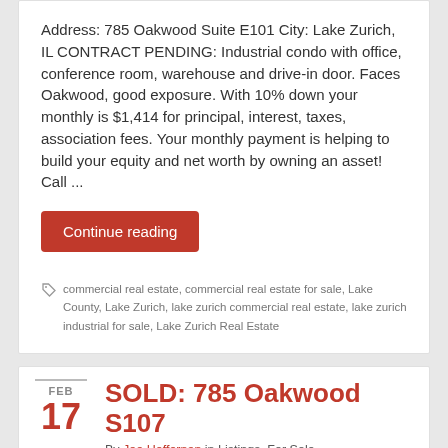Address: 785 Oakwood Suite E101 City: Lake Zurich, IL CONTRACT PENDING: Industrial condo with office, conference room, warehouse and drive-in door. Faces Oakwood, good exposure. With 10% down your monthly is $1,414 for principal, interest, taxes, association fees. Your monthly payment is helping to build your equity and net worth by owning an asset! Call ...
Continue reading
commercial real estate, commercial real estate for sale, Lake County, Lake Zurich, lake zurich commercial real estate, lake zurich industrial for sale, Lake Zurich Real Estate
FEB 17
SOLD: 785 Oakwood S107
By Joe Heffernan in Listings, For Sale